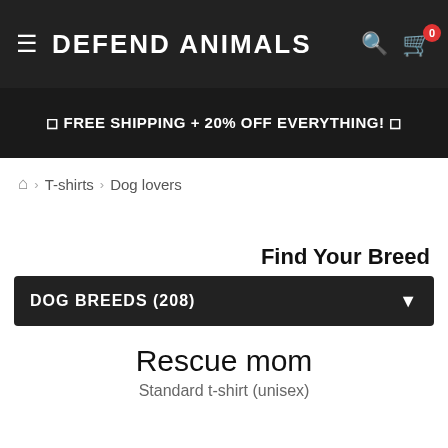DEFEND ANIMALS
🔖 FREE SHIPPING + 20% OFF EVERYTHING! 🔖
🏠 › T-shirts › Dog lovers
Find Your Breed
DOG BREEDS (208)
Rescue mom
Standard t-shirt (unisex)